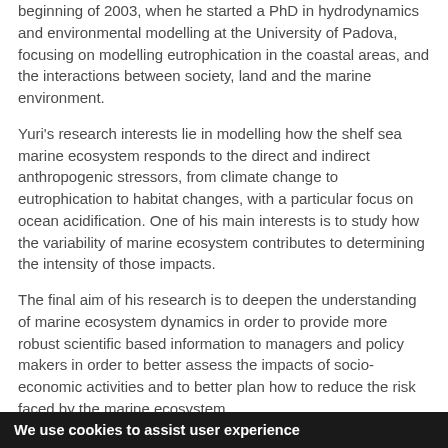beginning of 2003, when he started a PhD in hydrodynamics and environmental modelling at the University of Padova, focusing on modelling eutrophication in the coastal areas, and the interactions between society, land and the marine environment.
Yuri's research interests lie in modelling how the shelf sea marine ecosystem responds to the direct and indirect anthropogenic stressors, from climate change to eutrophication to habitat changes, with a particular focus on ocean acidification. One of his main interests is to study how the variability of marine ecosystem contributes to determining the intensity of those impacts.
The final aim of his research is to deepen the understanding of marine ecosystem dynamics in order to provide more robust scientific based information to managers and policy makers in order to better assess the impacts of socio-economic activities and to better plan how to reduce the risk faced by the marine ecosystem.
We use cookies to assist user experience